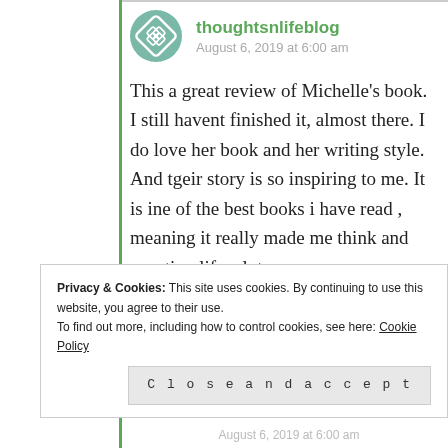[Figure (logo): Circular avatar/logo with teal background and white diamond/cross pattern for thoughtsnlifeblog]
thoughtsnlifeblog
August 6, 2019 at 6:00 am
This a great review of Michelle’s book. I still havent finished it, almost there. I do love her book and her writing style. And tgeir story is so inspiring to me. It is ine of the best books i have read , meaning it really made me think and question life a lot more.
★ Liked by 2 people
Privacy & Cookies: This site uses cookies. By continuing to use this website, you agree to their use.
To find out more, including how to control cookies, see here: Cookie Policy
Close and accept